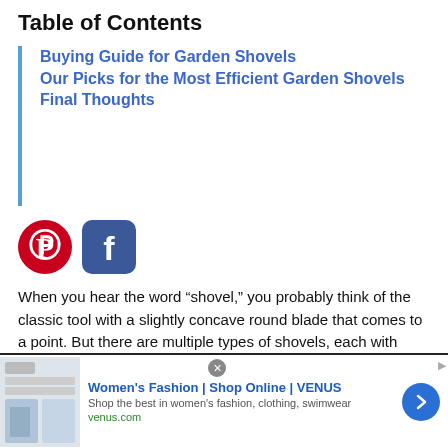Table of Contents
Buying Guide for Garden Shovels
Our Picks for the Most Efficient Garden Shovels
Final Thoughts
[Figure (logo): Pinterest and Facebook social share icons]
When you hear the word “shovel,” you probably think of the classic tool with a slightly concave round blade that comes to a point. But there are multiple types of shovels, each with different shapes and sizes and meant for specific uses. Garden shovels are one such type of
[Figure (screenshot): Advertisement banner for Women's Fashion | Shop Online | VENUS. Shop the best in women's fashion, clothing, swimwear. venus.com]